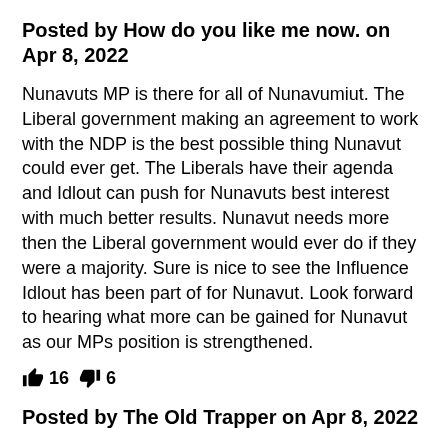Posted by How do you like me now. on Apr 8, 2022
Nunavuts MP is there for all of Nunavumiut. The Liberal government making an agreement to work with the NDP is the best possible thing Nunavut could ever get. The Liberals have their agenda and Idlout can push for Nunavuts best interest with much better results. Nunavut needs more then the Liberal government would ever do if they were a majority. Sure is nice to see the Influence Idlout has been part of for Nunavut. Look forward to hearing what more can be gained for Nunavut as our MPs position is strengthened.
👍 16  👎 6
Posted by The Old Trapper on Apr 8, 2022